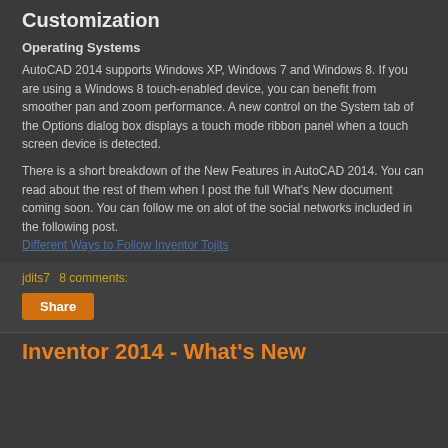Customization
Operating Systems
AutoCAD 2014 supports Windows XP, Windows 7 and Windows 8. If you are using a Windows 8 touch-enabled device, you can benefit from smoother pan and zoom performance. A new control on the System tab of the Options dialog box displays a touch mode ribbon panel when a touch screen device is detected.
There is a short breakdown of the New Features in AutoCAD 2014. You can read about the rest of them when I post the full What’s New document coming soon. You can follow me on alot of the social networks included in the following post. Different Ways to Follow Inventor Tojits
jdits7   8 comments:
Share
Inventor 2014 - What's New